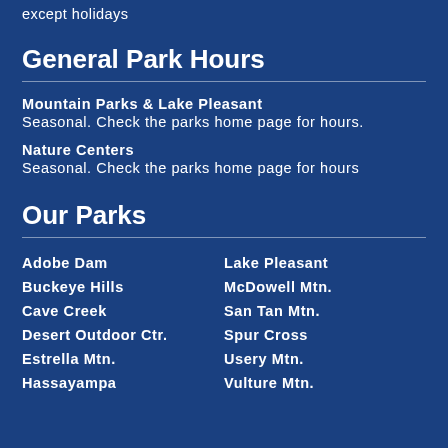except holidays
General Park Hours
Mountain Parks & Lake Pleasant
Seasonal. Check the parks home page for hours.
Nature Centers
Seasonal. Check the parks home page for hours
Our Parks
Adobe Dam
Buckeye Hills
Cave Creek
Desert Outdoor Ctr.
Estrella Mtn.
Hassayampa
Lake Pleasant
McDowell Mtn.
San Tan Mtn.
Spur Cross
Usery Mtn.
Vulture Mtn.